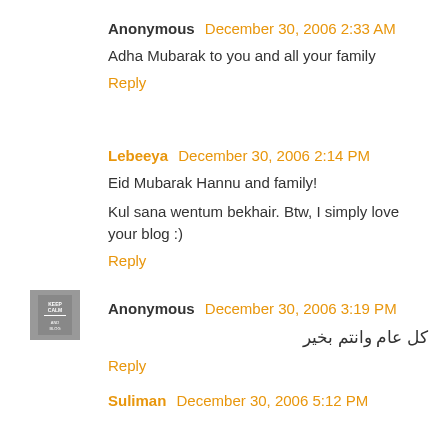Anonymous  December 30, 2006 2:33 AM
Adha Mubarak to you and all your family
Reply
[Figure (photo): Keep Calm and Blog avatar icon for user Lebeeya]
Lebeeya  December 30, 2006 2:14 PM
Eid Mubarak Hannu and family!
Kul sana wentum bekhair. Btw, I simply love your blog :)
Reply
Anonymous  December 30, 2006 3:19 PM
كل عام وانتم بخير
Reply
[Figure (photo): Profile photo for user Suliman]
Suliman  December 30, 2006 5:12 PM